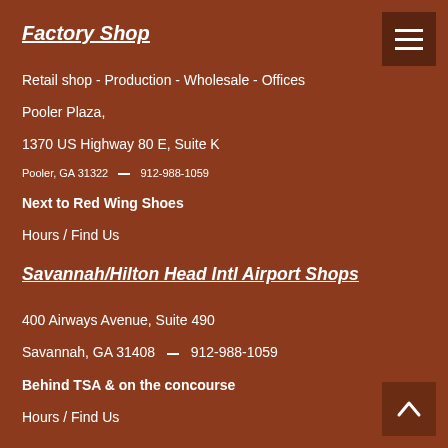Factory Shop
Retail shop - Production - Wholesale - Offices
Pooler Plaza,
1370 US Highway 80 E, Suite K
Pooler, GA 31322  –  912-988-1059
Next to Red Wing Shoes
Hours / Find Us
Savannah/Hilton Head Intl Airport Shops
400 Airways Avenue, Suite 490
Savannah, GA 31408  –  912-988-1059
Behind TSA & on the concourse
Hours / Find Us